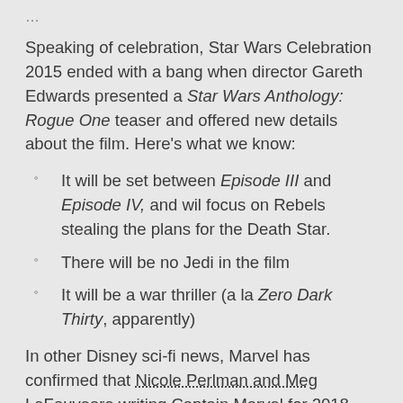…
Speaking of celebration, Star Wars Celebration 2015 ended with a bang when director Gareth Edwards presented a Star Wars Anthology: Rogue One teaser and offered new details about the film. Here's what we know:
It will be set between Episode III and Episode IV, and wil focus on Rebels stealing the plans for the Death Star.
There will be no Jedi in the film
It will be a war thriller (a la Zero Dark Thirty, apparently)
In other Disney sci-fi news, Marvel has confirmed that Nicole Perlman and Meg LeFauveare writing Captain Marvel for 2018. No director has been found yet, but Perlman co-wrote Guardians of the Galaxy and LeFauve co-wrote Inside Out (which is getting stellar reviews), so